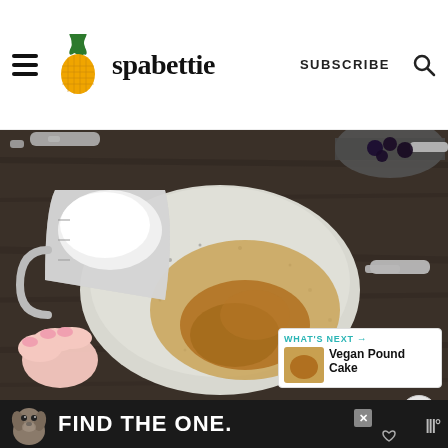spabettie — SUBSCRIBE
[Figure (photo): Overhead view of a measuring cup with white yogurt/cream being poured into a speckled ceramic bowl containing golden liquid (such as maple syrup) and applesauce. A hand with pink nails holds the measuring cup. Additional measuring cups and dark berries visible in the background on a dark wood surface.]
WHAT'S NEXT →
Vegan Pound Cake
[Figure (screenshot): Bottom advertisement bar: dog image on left, text FIND THE ONE, close button, mute/sound icon on right]